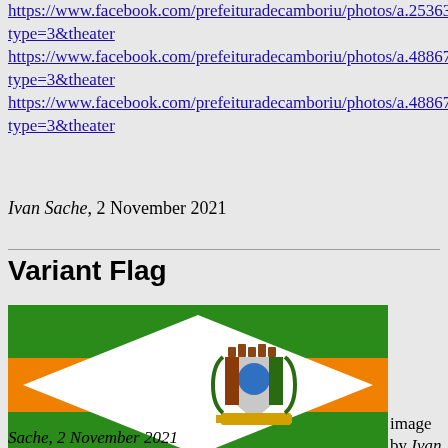https://www.facebook.com/prefeituradecamboriu/photos/a.25363628... type=3&theater https://www.facebook.com/prefeituradecamboriu/photos/a.48867298... type=3&theater https://www.facebook.com/prefeituradecamboriu/photos/a.48867298... type=3&theater
Ivan Sache, 2 November 2021
Variant Flag
[Figure (photo): Flag of Camboriu variant: green-orange-green horizontal stripes with a white diamond in the center bearing a municipal coat of arms]
image by Ivan Sache, 2 November 2021